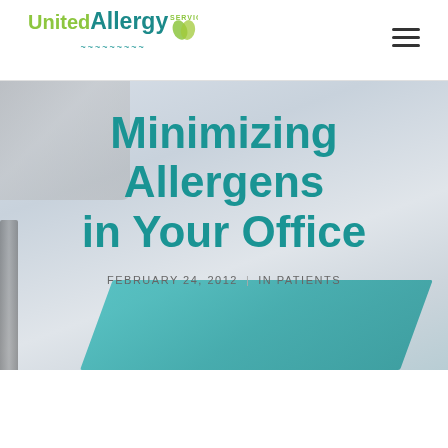[Figure (logo): United Allergy Services logo with green and teal text and leaf icon]
Minimizing Allergens in Your Office
FEBRUARY 24, 2012  |  IN PATIENTS
[Figure (photo): Hero background image showing desk with keyboard, pen, and teal cutting mat ruler, light gray background]